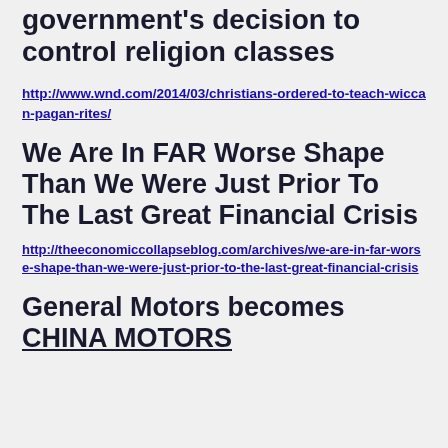government's decision to control religion classes
http://www.wnd.com/2014/03/christians-ordered-to-teach-wiccan-pagan-rites/
We Are In FAR Worse Shape Than We Were Just Prior To The Last Great Financial Crisis
http://theeconomiccollapseblog.com/archives/we-are-in-far-worse-shape-than-we-were-just-prior-to-the-last-great-financial-crisis
General Motors becomes CHINA MOTORS